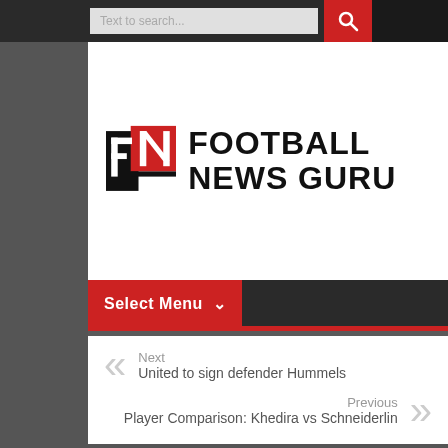Text to search...
[Figure (logo): FNG Football News Guru logo with red and black geometric FNG icon followed by FOOTBALL NEWS GURU text]
Select Menu
Next
United to sign defender Hummels
Previous
Player Comparison: Khedira vs Schneiderlin
Transfer News: 6th July 2014
Posted by:  Junaid Effendi